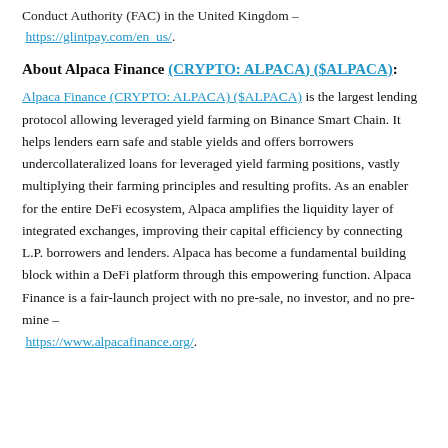Conduct Authority (FAC) in the United Kingdom – https://glintpay.com/en_us/.
About Alpaca Finance (CRYPTO: ALPACA) ($ALPACA):
Alpaca Finance (CRYPTO: ALPACA) ($ALPACA) is the largest lending protocol allowing leveraged yield farming on Binance Smart Chain. It helps lenders earn safe and stable yields and offers borrowers undercollateralized loans for leveraged yield farming positions, vastly multiplying their farming principles and resulting profits. As an enabler for the entire DeFi ecosystem, Alpaca amplifies the liquidity layer of integrated exchanges, improving their capital efficiency by connecting L.P. borrowers and lenders. Alpaca has become a fundamental building block within a DeFi platform through this empowering function. Alpaca Finance is a fair-launch project with no pre-sale, no investor, and no pre-mine – https://www.alpacafinance.org/.